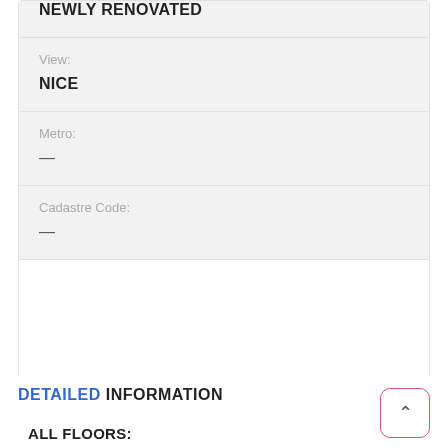NEWLY RENOVATED
View: NICE
Metro: —
Cadastre Code: —
DETAILED INFORMATION
ALL FLOORS: